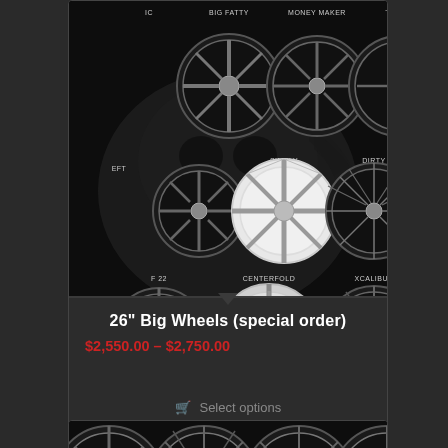[Figure (photo): Dark product image showing multiple custom chrome wheels on black background with skull graphic. Wheel names visible: BIG FATTY, MONEY MAKER, TRIBAL, UFO(partial), V ARM, SIMPLY SINISTER, DIRTY HOOKER, DIR/DE(partial), F 22, CENTERFOLD, XCALIBUR, DEFA(partial)]
26" Big Wheels (special order)
$2,550.00 – $2,750.00
Select options
[Figure (photo): Partial view of another product card showing chrome wheels on black background at bottom of page]